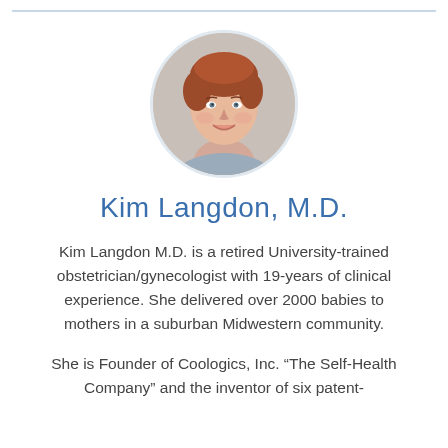[Figure (photo): Circular headshot photo of Kim Langdon M.D., a woman with short reddish-brown hair, smiling, against a light background]
Kim Langdon, M.D.
Kim Langdon M.D. is a retired University-trained obstetrician/gynecologist with 19-years of clinical experience. She delivered over 2000 babies to mothers in a suburban Midwestern community.
She is Founder of Coologics, Inc. “The Self-Health Company” and the inventor of six patent-